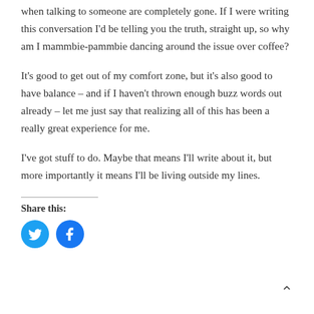when talking to someone are completely gone. If I were writing this conversation I’d be telling you the truth, straight up, so why am I mammbie-pammbie dancing around the issue over coffee?
It’s good to get out of my comfort zone, but it’s also good to have balance – and if I haven’t thrown enough buzz words out already – let me just say that realizing all of this has been a really great experience for me.
I’ve got stuff to do. Maybe that means I’ll write about it, but more importantly it means I’ll be living outside my lines.
Share this:
[Figure (other): Twitter and Facebook share icon buttons (circular blue icons)]